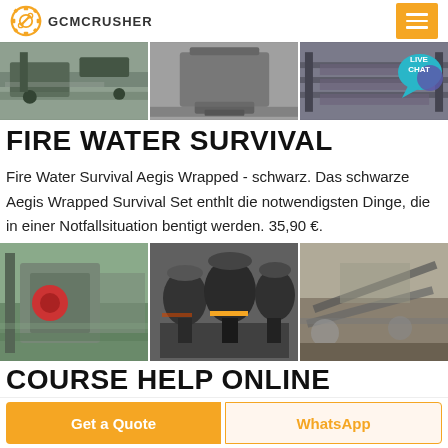GCMCRUSHER
[Figure (photo): Three-panel horizontal strip showing industrial crushing/conveyor equipment]
FIRE WATER SURVIVAL
Fire Water Survival Aegis Wrapped - schwarz. Das schwarze Aegis Wrapped Survival Set enthlt die notwendigsten Dinge, die in einer Notfallsituation bentigt werden. 35,90 €.
[Figure (photo): Three-panel horizontal strip showing industrial stone crushing machinery and quarry equipment]
COURSE HELP ONLINE
Get a Quote
WhatsApp